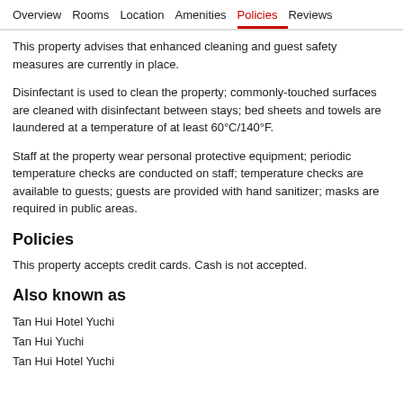Overview  Rooms  Location  Amenities  Policies  Reviews
This property advises that enhanced cleaning and guest safety measures are currently in place.
Disinfectant is used to clean the property; commonly-touched surfaces are cleaned with disinfectant between stays; bed sheets and towels are laundered at a temperature of at least 60°C/140°F.
Staff at the property wear personal protective equipment; periodic temperature checks are conducted on staff; temperature checks are available to guests; guests are provided with hand sanitizer; masks are required in public areas.
Policies
This property accepts credit cards. Cash is not accepted.
Also known as
Tan Hui Hotel Yuchi
Tan Hui Yuchi
Tan Hui Hotel Yuchi